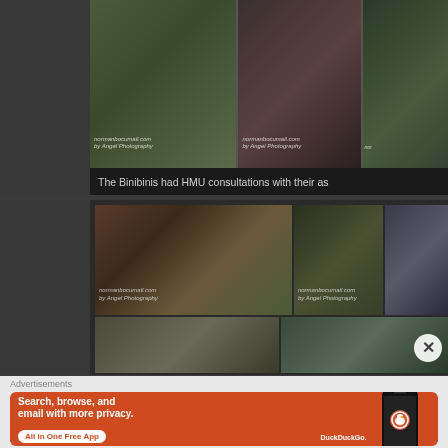[Figure (photo): Three photos of women in green tops/outfits — beauty pageant contestants (Binibinis), top section of webpage]
The Binibinis had HMU consultations with their as
[Figure (photo): Group photos of Binibini pageant contestants in green outfits, smiling and posing together, mid section of webpage]
[Figure (screenshot): Advertisement banner: DuckDuckGo — Search, browse, and email with more privacy. All in One Free App]
Advertisements
Search, browse, and email with more privacy.
All in One Free App
DuckDuckGo.